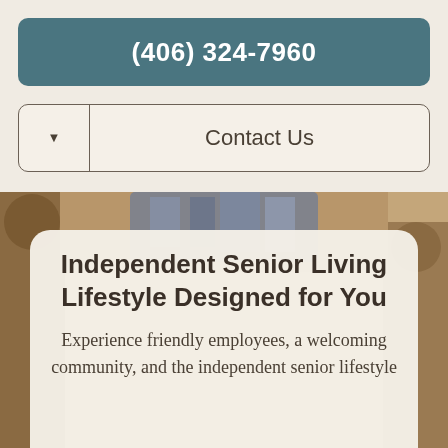(406) 324-7960
Contact Us
[Figure (photo): Background photo of seniors, partially visible on left and right sides behind a content card]
Independent Senior Living Lifestyle Designed for You
Experience friendly employees, a welcoming community, and the independent senior lifestyle